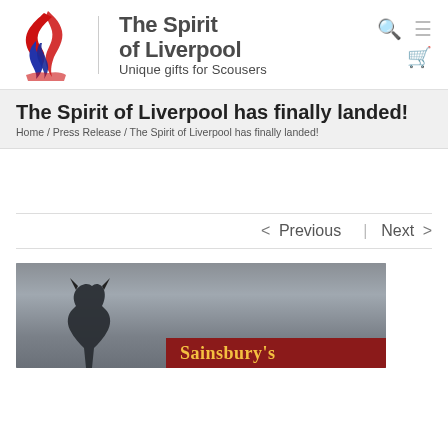[Figure (logo): The Spirit of Liverpool logo: red and blue phoenix/flame bird logo with vertical divider, site name 'The Spirit of Liverpool' and tagline 'Unique gifts for Scousers']
The Spirit of Liverpool has finally landed!
Home / Press Release / The Spirit of Liverpool has finally landed!
< Previous   Next >
[Figure (photo): Photograph showing a dark bronze or metal statue/sculpture in the foreground, with a Sainsbury's store sign visible in the background]